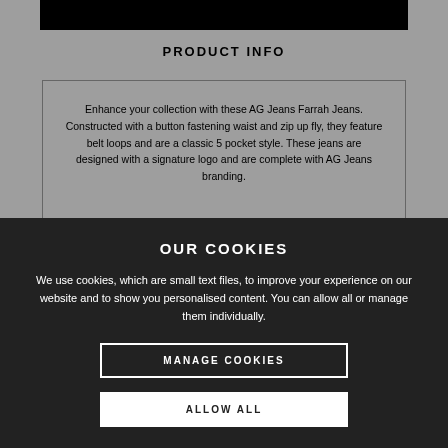[Figure (screenshot): Black image bar at top of product page]
PRODUCT INFO
Enhance your collection with these AG Jeans Farrah Jeans. Constructed with a button fastening waist and zip up fly, they feature belt loops and are a classic 5 pocket style. These jeans are designed with a signature logo and are complete with AG Jeans branding.
OUR COOKIES
We use cookies, which are small text files, to improve your experience on our website and to show you personalised content. You can allow all or manage them individually.
MANAGE COOKIES
ALLOW ALL